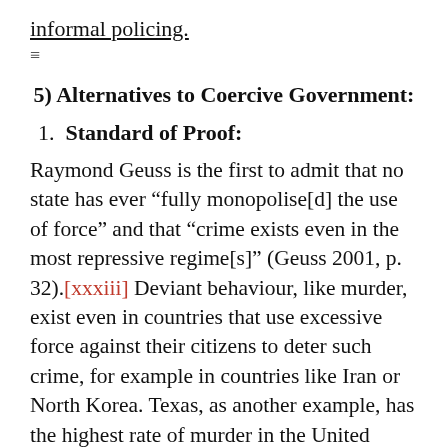informal policing.
5) Alternatives to Coercive Government:
1. Standard of Proof:
Raymond Geuss is the first to admit that no state has ever “fully monopolise[d] the use of force” and that “crime exists even in the most repressive regime[s]” (Geuss 2001, p. 32).[xxxiii] Deviant behaviour, like murder, exist even in countries that use excessive force against their citizens to deter such crime, for example in countries like Iran or North Korea. Texas, as another example, has the highest rate of murder in the United States, despite having the highest rate of capital punishment (Sorenson et. al 1999, pp. 481-493).[xxxiv] Despite these clear flaws in current models of civic justice, a benchmark of 0% criminal or civil disobedience is often used as a benchmark for